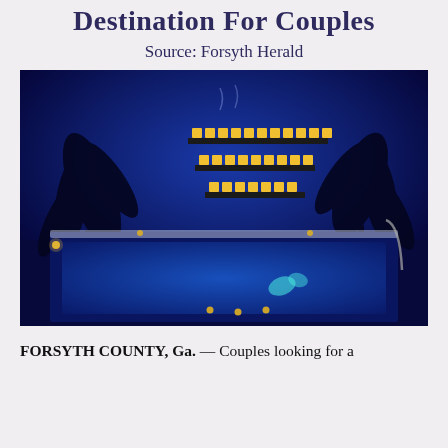Destination For Couples
Source: Forsyth Herald
[Figure (photo): A spa room bathed in vivid blue LED lighting with a large soaking pool/tub in the foreground. Three shelves of glowing yellow candles are mounted on the back wall. Dark leaf-silhouette decorations adorn the walls on both sides. Small candles placed around the pool edge glow warmly. A blue glowing butterfly shape is visible in the water.]
FORSYTH COUNTY, Ga. — Couples looking for a